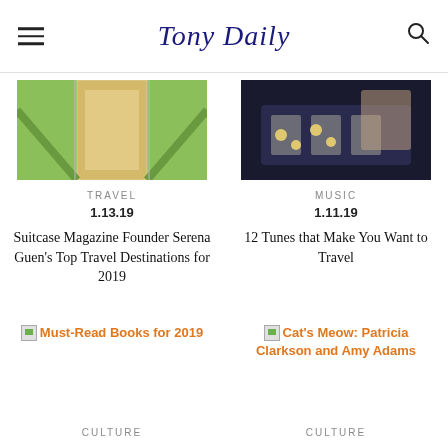Tony Daily
[Figure (photo): Outdoor garden path with green hedges and wooden deck, travel-themed image]
TRAVEL
1.13.19
Suitcase Magazine Founder Serena Guen's Top Travel Destinations for 2019
[Figure (photo): Backgammon board game, music-themed image]
MUSIC
1.11.19
12 Tunes that Make You Want to Travel
Must-Read Books for 2019
Cat's Meow: Patricia Clarkson and Amy Adams
CULTURE
CULTURE